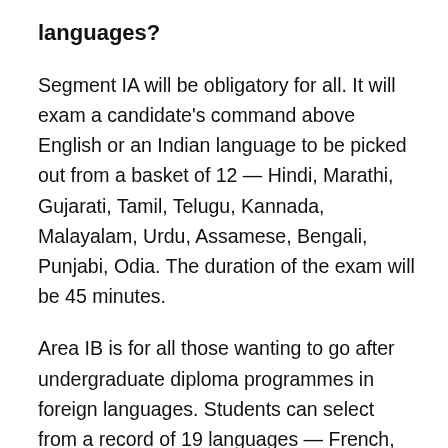languages?
Segment IA will be obligatory for all. It will exam a candidate's command above English or an Indian language to be picked out from a basket of 12 — Hindi, Marathi, Gujarati, Tamil, Telugu, Kannada, Malayalam, Urdu, Assamese, Bengali, Punjabi, Odia. The duration of the exam will be 45 minutes.
Area IB is for all those wanting to go after undergraduate diploma programmes in foreign languages. Students can select from a record of 19 languages — French, Spanish, German, Nepali, Persian, Italian, Arabic, Sindhi, Kashmiri, Konkani, Bodo, Dogri, Maithili, Manipuri, Santhali, Tibetan, Japanese, Russian and Chinese affording an instruction. Some